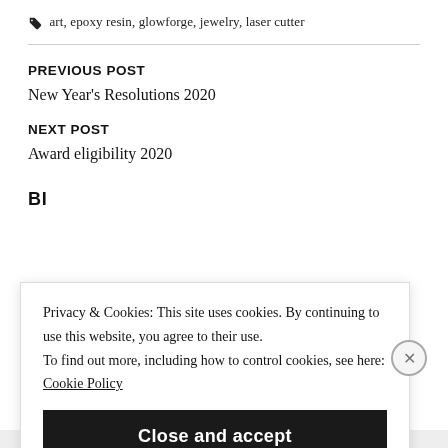art, epoxy resin, glowforge, jewelry, laser cutter
PREVIOUS POST
New Year's Resolutions 2020
NEXT POST
Award eligibility 2020
Privacy & Cookies: This site uses cookies. By continuing to use this website, you agree to their use. To find out more, including how to control cookies, see here: Cookie Policy
Close and accept